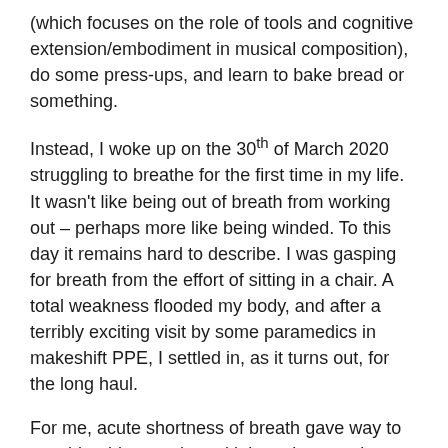(which focuses on the role of tools and cognitive extension/embodiment in musical composition), do some press-ups, and learn to bake bread or something.
Instead, I woke up on the 30th of March 2020 struggling to breathe for the first time in my life. It wasn't like being out of breath from working out – perhaps more like being winded. To this day it remains hard to describe. I was gasping for breath from the effort of sitting in a chair. A total weakness flooded my body, and after a terribly exciting visit by some paramedics in makeshift PPE, I settled in, as it turns out, for the long haul.
For me, acute shortness of breath gave way to considerable muscle and joint pain, exercise intolerance, chest pain, weight loss (which I can't put back on thanks to the exercise intolerance!), fatigue, brain fog, and an inability to focus. I used to row a lot, and I found myself using the mental technique of dividing an intense workout